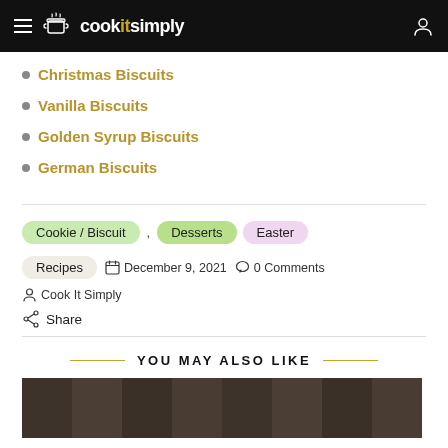cookitsimply
Christmas Biscuits
Vanilla Biscuits
Golden Syrup Biscuits
German Biscuits
Cookie / Biscuit , Desserts Easter
Recipes  December 9, 2021  0 Comments  Cook It Simply
Share
YOU MAY ALSO LIKE
[Figure (photo): Dark brownish image, likely a food photo at the bottom of the page]